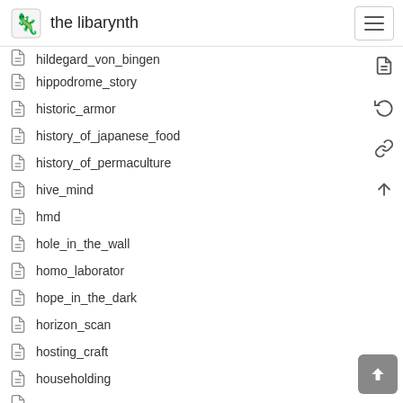the libarynth
hildegard_von_bingen
hippodrome_story
historic_armor
history_of_japanese_food
history_of_permaculture
hive_mind
hmd
hole_in_the_wall
homo_laborator
hope_in_the_dark
horizon_scan
hosting_craft
householding
how_an_underwater_habitat_benefits_marine_scien
how_forests_think
how_much_science_is_there
how_the_worm_farm_works
how_to_annotate_literally_everything